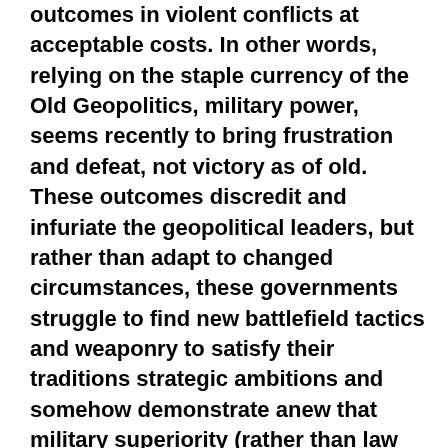outcomes in violent conflicts at acceptable costs. In other words, relying on the staple currency of the Old Geopolitics, military power, seems recently to bring frustration and defeat, not victory as of old. These outcomes discredit and infuriate the geopolitical leaders, but rather than adapt to changed circumstances, these governments struggle to find new battlefield tactics and weaponry to satisfy their traditions strategic ambitions and somehow demonstrate anew that military superiority (rather than law or justice) serves the world as the arbiter of international conflicts. The aged architects of the Old Geopolitics for a variety of reasons are unable to learn from failure, and so the cycle of war and frustration goes on and on with disastrous human results.